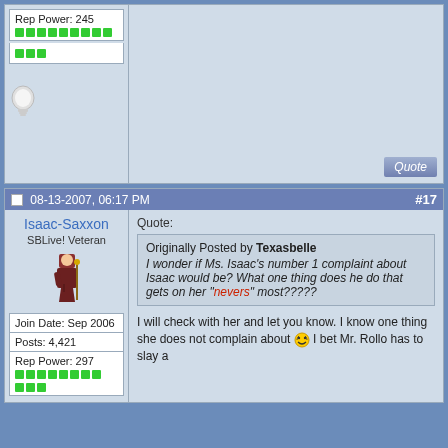Rep Power: 245 [green dots]
Quote
08-13-2007, 06:17 PM  #17
Isaac-Saxxon
SBLive! Veteran
| Join Date: Sep 2006 |
| Posts: 4,421 |
| Rep Power: 297 [green dots] |
Quote: Originally Posted by Texasbelle I wonder if Ms. Isaac's number 1 complaint about Isaac would be? What one thing does he do that gets on her "nevers" most?????
I will check with her and let you know. I know one thing she does not complain about [emoji] I bet Mr. Rollo has to slay a